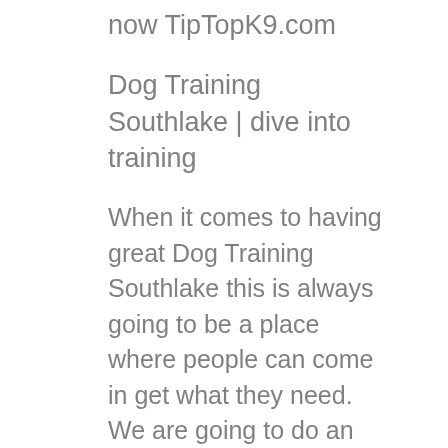now TipTopK9.com
Dog Training Southlake | dive into training
When it comes to having great Dog Training Southlake this is always going to be a place where people can come in get what they need. We are going to do an awesome job you getting these type of services for you and you be very happy. We do a great job the customer service. Our customer service goes 100% farther than anybody else's.
We love being able to help you get Dog